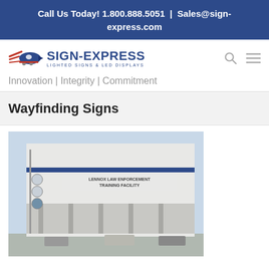Call Us Today! 1.800.888.5051 | Sales@sign-express.com
[Figure (logo): Sign-Express logo with train/speed graphic icon and text 'SIGN-EXPRESS LIGHTED SIGNS & LED DISPLAYS']
Innovation | Integrity | Commitment
Wayfinding Signs
[Figure (photo): Exterior photo of a large municipal building with wayfinding signage on the facade, showing 'LENNOX LAW ENFORCEMENT TRAINING FACILITY' text on a white building wall with blue accent stripe]
Learn About Municipal Building Signs |